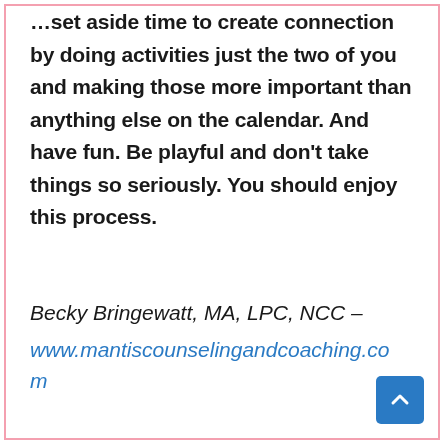…set aside time to create connection by doing activities just the two of you and making those more important than anything else on the calendar. And have fun. Be playful and don't take things so seriously. You should enjoy this process.
Becky Bringewatt, MA, LPC, NCC – www.mantiscounselingandcoaching.com